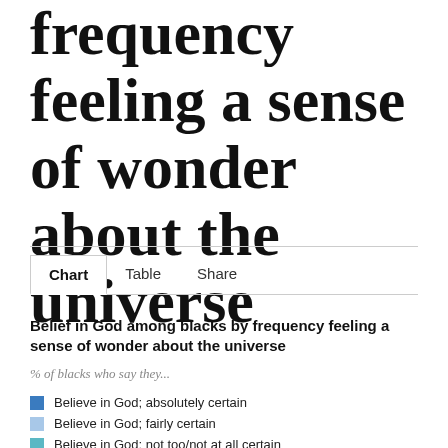frequency feeling a sense of wonder about the universe
Belief in God among blacks by frequency feeling a sense of wonder about the universe
% of blacks who say they...
Believe in God; absolutely certain
Believe in God; fairly certain
Believe in God; not too/not at all certain